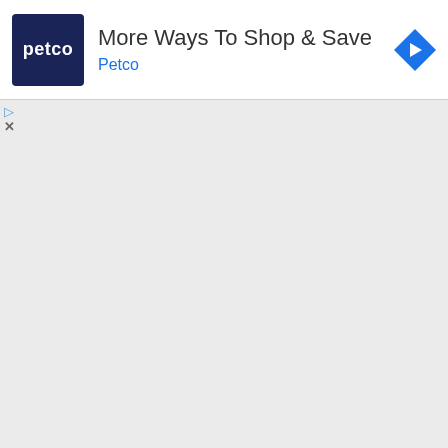[Figure (screenshot): Petco advertisement banner with logo, headline 'More Ways To Shop & Save', brand name 'Petco', and a blue diamond navigation icon]
More Ways To Shop & Save
Petco
+64 3-439 4818